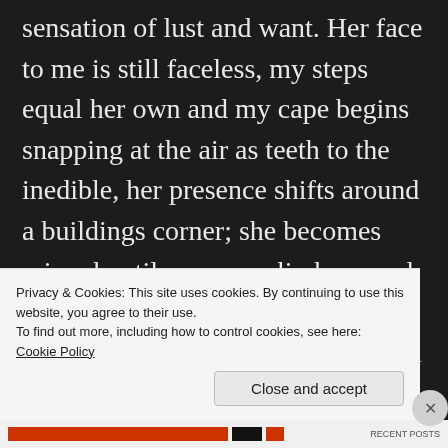sensation of lust and want. Her face to me is still faceless, my steps equal her own and my cape begins snapping at the air as teeth to the inedible, her presence shifts around a buildings corner; she becomes missed until my eyes climb around also to see her kneeling, picking up her purse. Her eyes rise like the sun to me, at this time set like it was extinguished by the fear of being the only life alive on the street. I react quickly as her look
Privacy & Cookies: This site uses cookies. By continuing to use this website, you agree to their use.
To find out more, including how to control cookies, see here: Cookie Policy
Close and accept